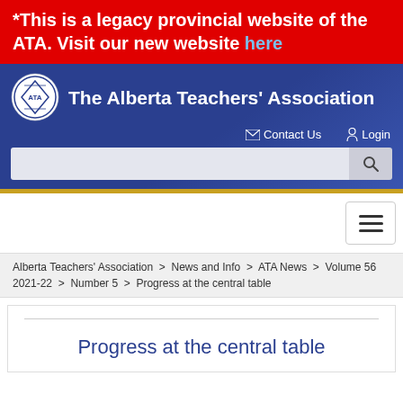*This is a legacy provincial website of the ATA. Visit our new website here
[Figure (logo): The Alberta Teachers' Association logo and header with navigation links (Contact Us, Login) and a search bar]
Alberta Teachers' Association > News and Info > ATA News > Volume 56 2021-22 > Number 5 > Progress at the central table
Progress at the central table